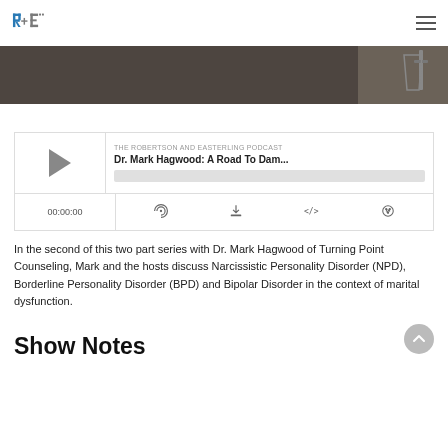R+E (Robertson and Easterling Podcast logo) with hamburger menu
[Figure (photo): Dark hero banner image with partial view of a microphone or studio equipment on the right side]
[Figure (screenshot): Podcast audio player widget showing 'THE ROBERTSON AND EASTERLING PODCAST' label, title 'Dr. Mark Hagwood: A Road To Dam...', play button, progress bar, time display 00:00:00, and control icons for RSS, download, embed, and share]
In the second of this two part series with Dr. Mark Hagwood of Turning Point Counseling, Mark and the hosts discuss Narcissistic Personality Disorder (NPD), Borderline Personality Disorder (BPD) and Bipolar Disorder in the context of marital dysfunction.
Show Notes